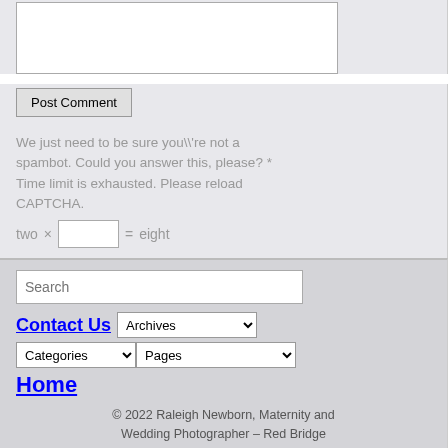[Figure (screenshot): A textarea input box (comment field), partially visible at top]
Post Comment
We just need to be sure you\'re not a spambot. Could you answer this, please? * Time limit is exhausted. Please reload CAPTCHA. two × = eight
Search
Contact Us
Archives
Categories
Pages
Home
© 2022 Raleigh Newborn, Maternity and Wedding Photographer – Red Bridge Photography | ProPhoto Photography Theme